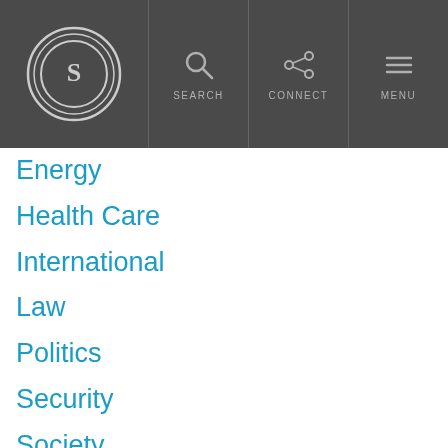The Daily Signal - SEARCH CONNECT MENU
Energy
Health Care
International
Law
Politics
Security
Society
More Information
Authors
About The Daily Signal